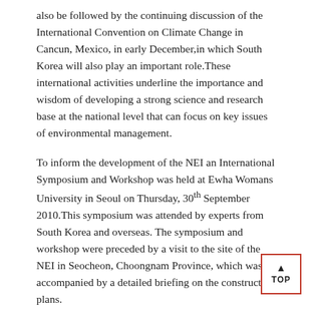also be followed by the continuing discussion of the International Convention on Climate Change in Cancun, Mexico, in early December,in which South Korea will also play an important role.These international activities underline the importance and wisdom of developing a strong science and research base at the national level that can focus on key issues of environmental management.
To inform the development of the NEI an International Symposium and Workshop was held at Ewha Womans University in Seoul on Thursday, 30th September 2010.This symposium was attended by experts from South Korea and overseas. The symposium and workshop were preceded by a visit to the site of the NEI in Seocheon, Choongnam Province, which was accompanied by a detailed briefing on the construction plans.